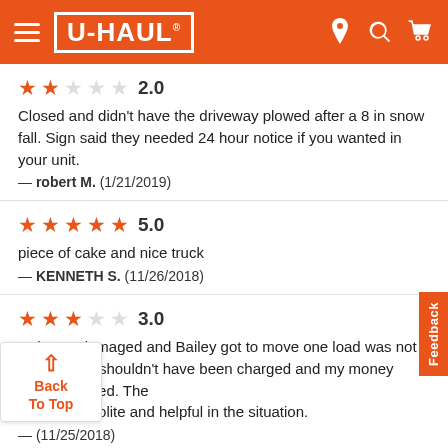U-HAUL
2.0
Closed and didn't have the driveway plowed after a 8 in snow fall. Sign said they needed 24 hour notice if you wanted in your unit.
— robert M.  (1/21/2019)
5.0
piece of cake and nice truck
— KENNETH S.  (11/26/2018)
3.0
Unit was damaged and Bailey got to move one load was not happy at all shouldn't have been charged and my money been refunded. The more then polite and helpful in the situation.
— (11/25/2018)